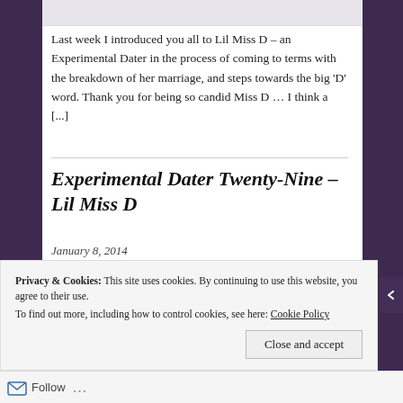Last week I introduced you all to Lil Miss D – an Experimental Dater in the process of coming to terms with the breakdown of her marriage, and steps towards the big 'D' word. Thank you for being so candid Miss D … I think a [...]
Experimental Dater Twenty-Nine – Lil Miss D
January 8, 2014
[Figure (photo): Image placeholder / thumbnail for blog post]
Privacy & Cookies: This site uses cookies. By continuing to use this website, you agree to their use. To find out more, including how to control cookies, see here: Cookie Policy
Follow